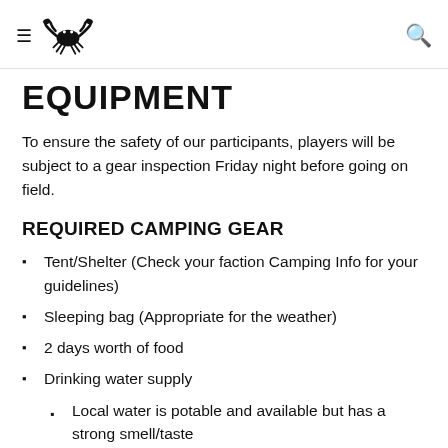≡ [crab logo] [search icon]
EQUIPMENT
To ensure the safety of our participants, players will be subject to a gear inspection Friday night before going on field.
REQUIRED CAMPING GEAR
Tent/Shelter (Check your faction Camping Info for your guidelines)
Sleeping bag (Appropriate for the weather)
2 days worth of food
Drinking water supply
Local water is potable and available but has a strong smell/taste...